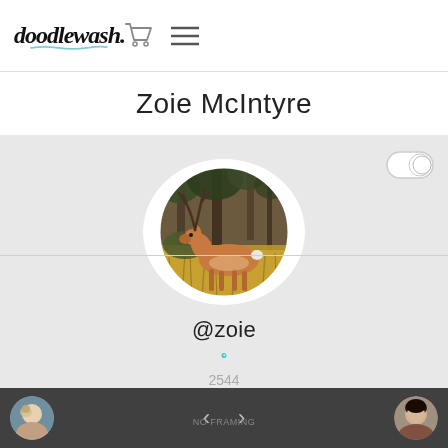doodlewash.
Zoie McIntyre
@zoie
2544
[Figure (photo): Profile photo of an impala deer standing in dry savanna grassland with trees in background, shown in a circular crop]
[Figure (photo): Small circular avatar of a person with light hair, shown in bottom-left navigation bar]
[Figure (photo): Small circular avatar of a person, shown in bottom-right navigation bar]